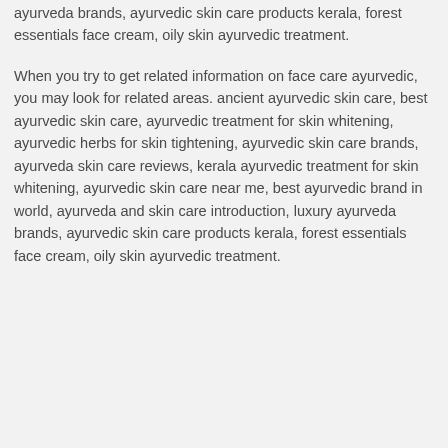ayurveda brands, ayurvedic skin care products kerala, forest essentials face cream, oily skin ayurvedic treatment.
When you try to get related information on face care ayurvedic, you may look for related areas. ancient ayurvedic skin care, best ayurvedic skin care, ayurvedic treatment for skin whitening, ayurvedic herbs for skin tightening, ayurvedic skin care brands, ayurveda skin care reviews, kerala ayurvedic treatment for skin whitening, ayurvedic skin care near me, best ayurvedic brand in world, ayurveda and skin care introduction, luxury ayurveda brands, ayurvedic skin care products kerala, forest essentials face cream, oily skin ayurvedic treatment.